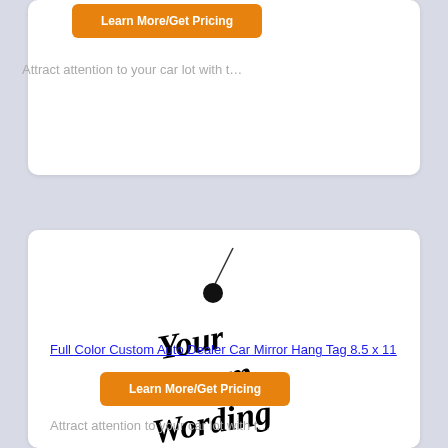Learn More/Get Pricing
Attract attention to your car lot with t…
[Figure (illustration): A hang tag product image showing 'Your Custom Wording' in bold italic black serif text on a white tag with a string and circle hole at the top]
Full Color Custom Auto Dealer Car Mirror Hang Tag 8.5 x 11
Learn More/Get Pricing
Attract attention to your car lot with t…